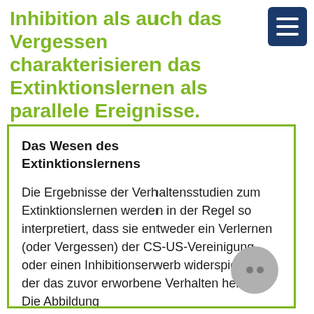Inhibition als auch das Vergessen charakterisieren das Extinktionslernen als parallele Ereignisse.
Das Wesen des Extinktionslernens
Die Ergebnisse der Verhaltensstudien zum Extinktionslernen werden in der Regel so interpretiert, dass sie entweder ein Verlernen (oder Vergessen) der CS-US-Vereinigung oder einen Inhibitionserwerb widerspiegeln, der das zuvor erworbene Verhalten hemmt. Die Abbildung